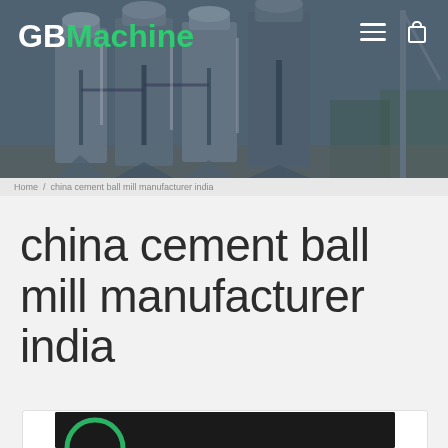[Figure (photo): Header banner showing industrial cement plant facility with large silos and dust collectors, with GBMachine logo overlay and navigation icons]
china cement ball mill manufacturer india
[Figure (photo): Partial view of content card with dark background showing beginning of a circular green graphic element]